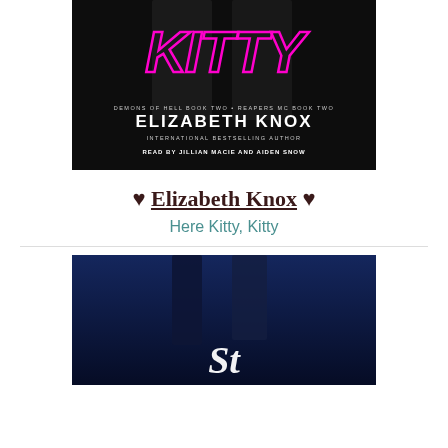[Figure (illustration): Book cover for 'Here Kitty Kitty' by Elizabeth Knox. Dark background with pink/magenta stylized text. Subtitle: Demons of Hell Book Two · Reapers MC Book Two. International Bestselling Author. Read by Jillian Macie and Aiden Snow.]
♥ Elizabeth Knox ♥
Here Kitty, Kitty
[Figure (illustration): Second book cover with dark blue background showing two figures, with white cursive script text at the bottom.]